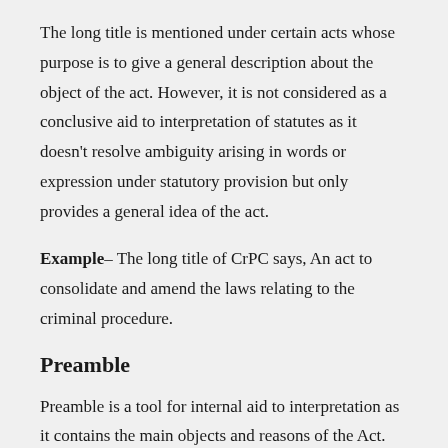The long title is mentioned under certain acts whose purpose is to give a general description about the object of the act. However, it is not considered as a conclusive aid to interpretation of statutes as it doesn't resolve ambiguity arising in words or expression under statutory provision but only provides a general idea of the act.
Example– The long title of CrPC says, An act to consolidate and amend the laws relating to the criminal procedure.
Preamble
Preamble is a tool for internal aid to interpretation as it contains the main objects and reasons of the Act. The rule of interpretation of preamble is that when a language of an enactment is clear and unambiguous, the preamble has no part to play but if more than one interpretation is possible, a help